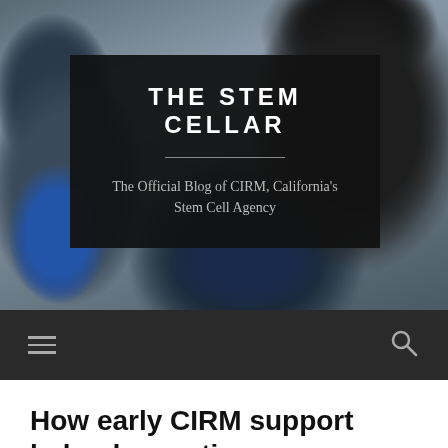[Figure (photo): Background photo showing a group of people, including a person in blue scrubs on the left and a woman with natural hair on the right, in a blurred/bokeh style]
THE STEM CELLAR
The Official Blog of CIRM, California's Stem Cell Agency
Navigation bar with hamburger menu icon and search icon
How early CIRM support helped an anti-cancer therapy